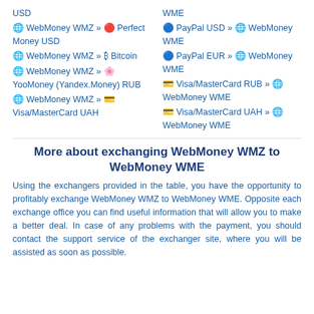USD
🌐 WebMoney WMZ » 🔴 Perfect Money USD
🌐 WebMoney WMZ » 🟠 Bitcoin
🌐 WebMoney WMZ » 🌸 YooMoney (Yandex.Money) RUB
🌐 WebMoney WMZ » 💳 Visa/MasterCard UAH
WME
🔵 PayPal USD » 🌐 WebMoney WME
🔵 PayPal EUR » 🌐 WebMoney WME
💳 Visa/MasterCard RUB » 🌐 WebMoney WME
💳 Visa/MasterCard UAH » 🌐 WebMoney WME
More about exchanging WebMoney WMZ to WebMoney WME
Using the exchangers provided in the table, you have the opportunity to profitably exchange WebMoney WMZ to WebMoney WME. Opposite each exchange office you can find useful information that will allow you to make a better deal. In case of any problems with the payment, you should contact the support service of the exchanger site, where you will be assisted as soon as possible.